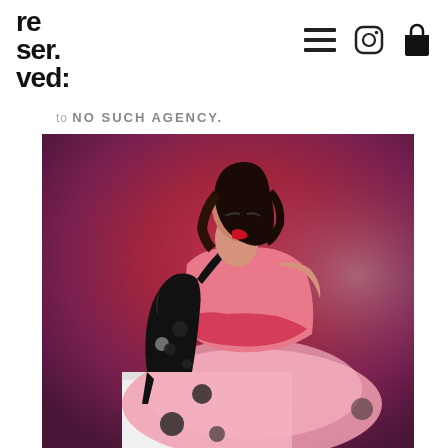re ser. ved:
to NO SUCH AGENCY.
[Figure (photo): Fashion editorial photo of a young woman with dark hair and red lips, wearing a pink/red tulle strapless dress with black polka-dot thigh-high boots and black gloves, seated on a white cube, against a red-to-purple gradient background.]